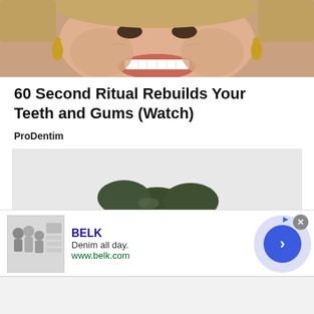[Figure (photo): Close-up photo of a smiling person showing teeth, wearing gold earrings, cropped at top of page]
60 Second Ritual Rebuilds Your Teeth and Gums (Watch)
ProDentim
[Figure (photo): Pile of dark green tablets/pills on a white background]
[Figure (screenshot): Advertisement banner for BELK showing 'Denim all day.' with url www.belk.com and a forward navigation arrow button]